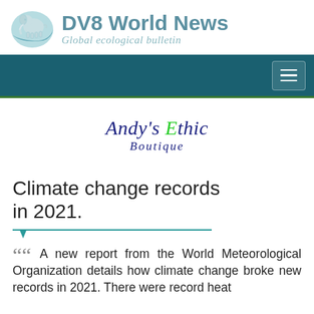[Figure (logo): DV8 World News logo with elephant and globe icon, teal colors. Text: 'DV8 World News' in bold teal, subtitle 'Global ecological bulletin' in italic teal script.]
[Figure (illustration): Dark teal navigation bar with hamburger menu button on the right and green bottom border.]
[Figure (logo): Andy's Ethic Boutique logo in cursive script. 'Andy's' and 'Ethic' in dark navy blue with the 'E' in green, 'Boutique' in smaller navy italic script below.]
Climate change records in 2021.
A new report from the World Meteorological Organization details how climate change broke new records in 2021. There were record heat